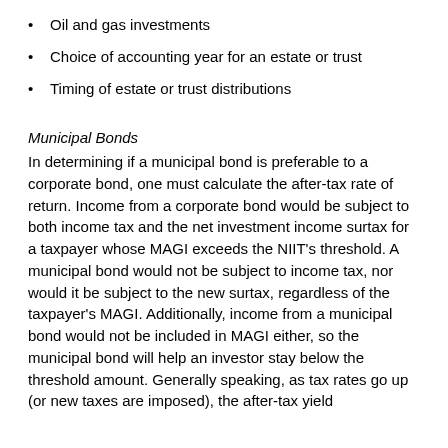Oil and gas investments
Choice of accounting year for an estate or trust
Timing of estate or trust distributions
Municipal Bonds
In determining if a municipal bond is preferable to a corporate bond, one must calculate the after-tax rate of return. Income from a corporate bond would be subject to both income tax and the net investment income surtax for a taxpayer whose MAGI exceeds the NIIT's threshold. A municipal bond would not be subject to income tax, nor would it be subject to the new surtax, regardless of the taxpayer's MAGI. Additionally, income from a municipal bond would not be included in MAGI either, so the municipal bond will help an investor stay below the threshold amount. Generally speaking, as tax rates go up (or new taxes are imposed), the after-tax yield of would be lower than the existing